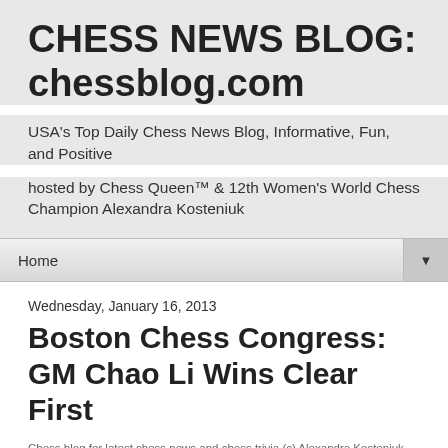CHESS NEWS BLOG: chessblog.com
USA's Top Daily Chess News Blog, Informative, Fun, and Positive
hosted by Chess Queen™ & 12th Women's World Chess Champion Alexandra Kosteniuk
Home ▼
Wednesday, January 16, 2013
Boston Chess Congress: GM Chao Li Wins Clear First
Chess blog for latest chess news and chess trivia (c) Alexandra Kosteniuk, 2012
Hi everyone,